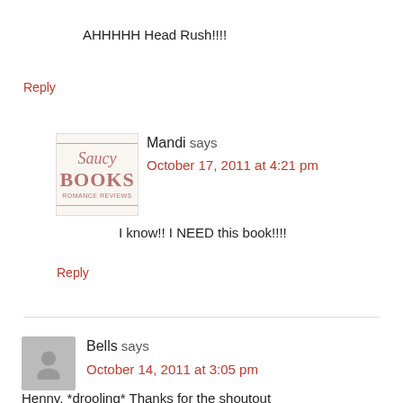AHHHHH Head Rush!!!!
Reply
Mandi says
October 17, 2011 at 4:21 pm
I know!! I NEED this book!!!!
Reply
Bells says
October 14, 2011 at 3:05 pm
Henny, *drooling* Thanks for the shoutout